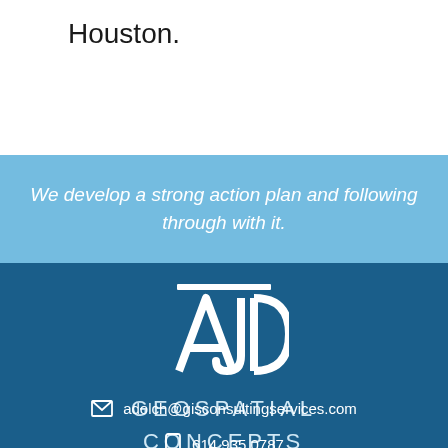Houston.
We develop a strong action plan and following through with it.
[Figure (logo): AJD Geospatial Concepts logo — stylized AJD letters in white on dark blue background, with company name GEOSPATIAL CONCEPTS below]
adolch@gisconsultingservices.com
614.935.0787